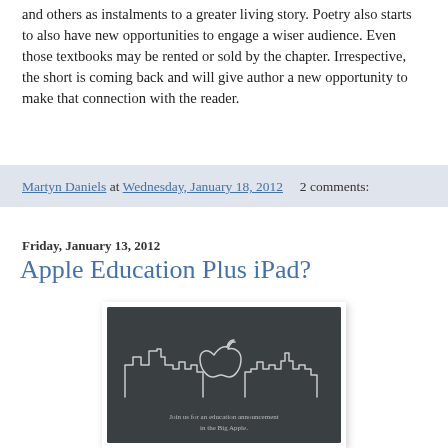and others as instalments to a greater living story. Poetry also starts to also have new opportunities to engage a wiser audience. Even those textbooks may be rented or sold by the chapter. Irrespective, the short is coming back and will give author a new opportunity to make that connection with the reader.
Martyn Daniels at Wednesday, January 18, 2012    2 comments:
Friday, January 13, 2012
Apple Education Plus iPad?
[Figure (photo): Dark chalkboard-style image with white outline drawing of a city skyline and Apple logo in the center, with text at the bottom: 'Join us for an education announcement in the Big Apple.']